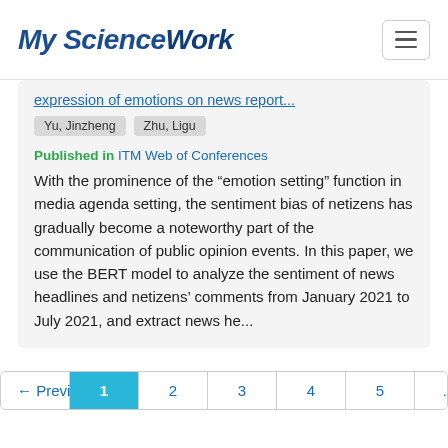My Science Work
expression of emotions on news report...
Yu, Jinzheng   Zhu, Ligu
Published in ITM Web of Conferences
With the prominence of the “emotion setting” function in media agenda setting, the sentiment bias of netizens has gradually become a noteworthy part of the communication of public opinion events. In this paper, we use the BERT model to analyze the sentiment of news headlines and netizens’ comments from January 2021 to July 2021, and extract news he...
← Previous  1  2  3  4  5  ...  100  Next →